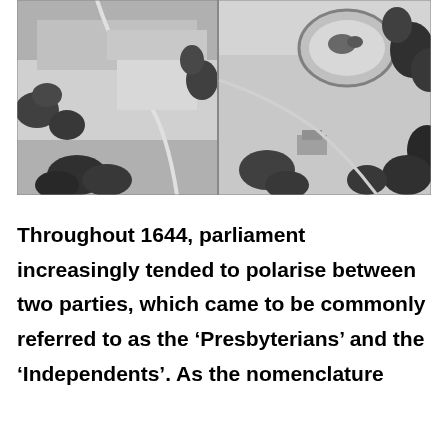[Figure (photo): Black and white aerial photograph split into two panels showing a circular hill fort or earthwork monument surrounded by trees and open grassland fields. The right panel shows a circular ring structure at the top of the hill with what appears to be some structures or people visible.]
Throughout 1644, parliament increasingly tended to polarise between two parties, which came to be commonly referred to as the 'Presbyterians' and the 'Independents'. As the nomenclature